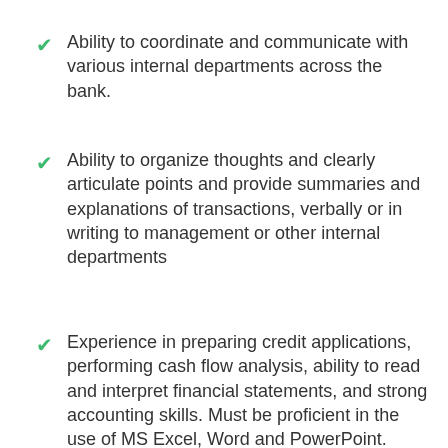Ability to coordinate and communicate with various internal departments across the bank.
Ability to organize thoughts and clearly articulate points and provide summaries and explanations of transactions, verbally or in writing to management or other internal departments
Experience in preparing credit applications, performing cash flow analysis, ability to read and interpret financial statements, and strong accounting skills. Must be proficient in the use of MS Excel, Word and PowerPoint.